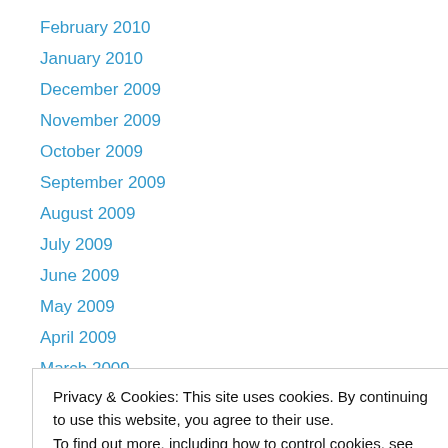February 2010
January 2010
December 2009
November 2009
October 2009
September 2009
August 2009
July 2009
June 2009
May 2009
April 2009
March 2009
February 2009
Privacy & Cookies: This site uses cookies. By continuing to use this website, you agree to their use.
To find out more, including how to control cookies, see here: Cookie Policy
Close and accept